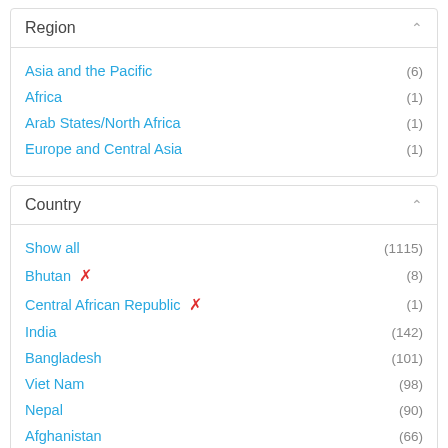Region
Asia and the Pacific (6)
Africa (1)
Arab States/North Africa (1)
Europe and Central Asia (1)
Country
Show all (1115)
Bhutan ✗ (8)
Central African Republic ✗ (1)
India (142)
Bangladesh (101)
Viet Nam (98)
Nepal (90)
Afghanistan (66)
Philippines (65)